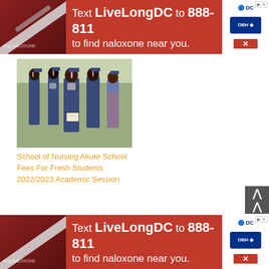[Figure (infographic): Red advertisement banner: Text LiveLongDC to 888-811 to find naloxone near you. DC and DBH logos on right side.]
[Figure (photo): Group of nursing students wearing blue graduation gowns and caps in a ceremony hall.]
School of Nursing Akure School Fees For Fresh Students 2022/2023 Academic Session
RELATED POSTS:
[Figure (photo): Related post card image showing medical tools with text: Mbano Fees Schedule for New]
[Figure (photo): Related post card image showing medical tools with text: School Fees Schedule for New]
[Figure (infographic): Red advertisement banner (bottom): Text LiveLongDC to 888-811 to find naloxone near you. DC and DBH logos on right side.]